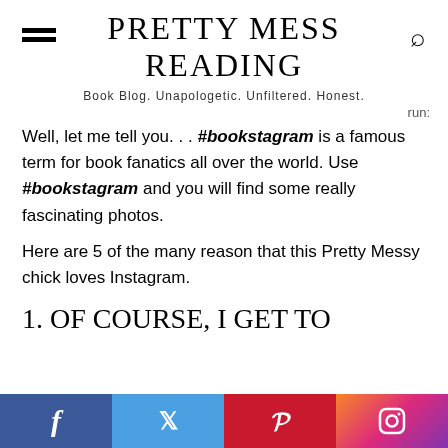Pretty Mess Reading
Book Blog. Unapologetic. Unfiltered. Honest.
run:
Well, let me tell you. . . #bookstagram is a famous term for book fanatics all over the world. Use #bookstagram and you will find some really fascinating photos.
Here are 5 of the many reason that this Pretty Messy chick loves Instagram.
1. Of course, I get to
f  twitter  p  instagram